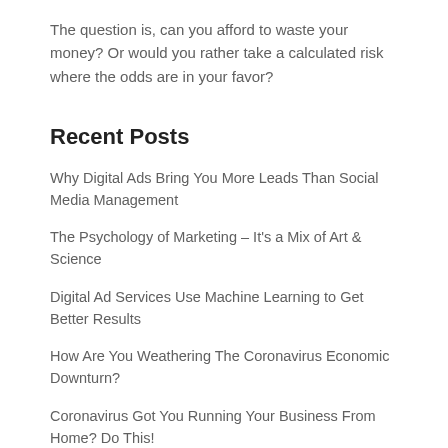The question is, can you afford to waste your money? Or would you rather take a calculated risk where the odds are in your favor?
Recent Posts
Why Digital Ads Bring You More Leads Than Social Media Management
The Psychology of Marketing – It's a Mix of Art & Science
Digital Ad Services Use Machine Learning to Get Better Results
How Are You Weathering The Coronavirus Economic Downturn?
Coronavirus Got You Running Your Business From Home? Do This!